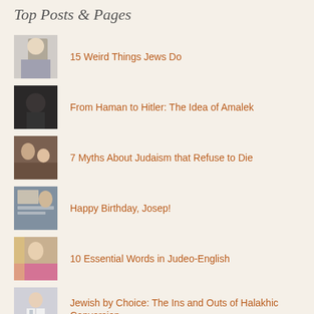Top Posts & Pages
15 Weird Things Jews Do
From Haman to Hitler: The Idea of Amalek
7 Myths About Judaism that Refuse to Die
Happy Birthday, Josep!
10 Essential Words in Judeo-English
Jewish by Choice: The Ins and Outs of Halakhic Conversion
A Blessing on Your Head: Jewish Headgear